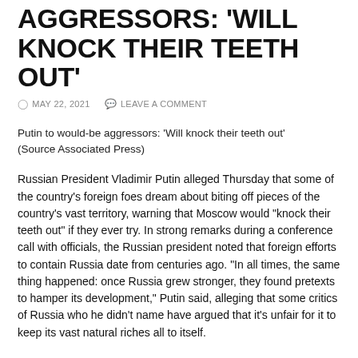AGGRESSORS: 'WILL KNOCK THEIR TEETH OUT'
MAY 22, 2021   LEAVE A COMMENT
Putin to would-be aggressors: 'Will knock their teeth out' (Source Associated Press)
Russian President Vladimir Putin alleged Thursday that some of the country's foreign foes dream about biting off pieces of the country's vast territory, warning that Moscow would "knock their teeth out" if they ever try. In strong remarks during a conference call with officials, the Russian president noted that foreign efforts to contain Russia date from centuries ago. "In all times, the same thing happened: once Russia grew stronger, they found pretexts to hamper its development," Putin said, alleging that some critics of Russia who he didn't name have argued that it's unfair for it to keep its vast natural riches all to itself.